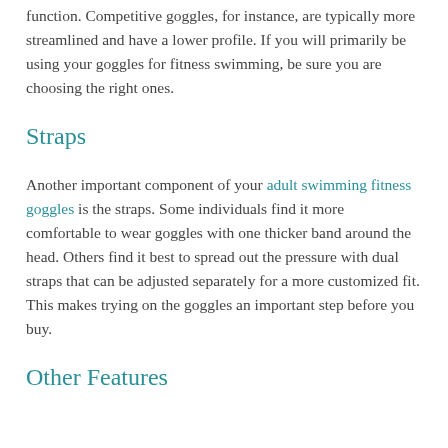function. Competitive goggles, for instance, are typically more streamlined and have a lower profile. If you will primarily be using your goggles for fitness swimming, be sure you are choosing the right ones.
Straps
Another important component of your adult swimming fitness goggles is the straps. Some individuals find it more comfortable to wear goggles with one thicker band around the head. Others find it best to spread out the pressure with dual straps that can be adjusted separately for a more customized fit. This makes trying on the goggles an important step before you buy.
Other Features